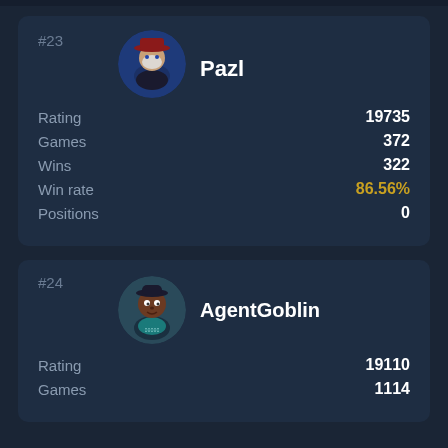#23
Pazl
| Stat | Value |
| --- | --- |
| Rating | 19735 |
| Games | 372 |
| Wins | 322 |
| Win rate | 86.56% |
| Positions | 0 |
#24
AgentGoblin
| Stat | Value |
| --- | --- |
| Rating | 19110 |
| Games | 1114 |